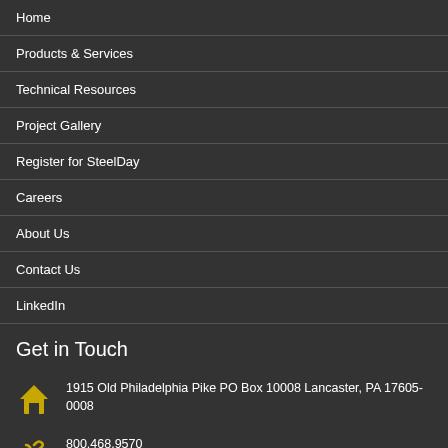Home
Products & Services
Technical Resources
Project Gallery
Register for SteelDay
Careers
About Us
Contact Us
LinkedIn
Get in Touch
1915 Old Philadelphia Pike PO Box 10008 Lancaster, PA 17605-0008
800.468.9570